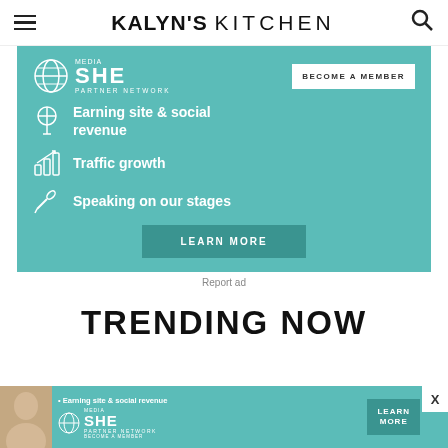KALYN'S KITCHEN
[Figure (infographic): SHE Media Partner Network advertisement banner with teal background. Shows SHE Media logo, 'BECOME A MEMBER' button, three bullet points with icons: 'Earning site & social revenue', 'Traffic growth', 'Speaking on our stages', and a 'LEARN MORE' button.]
Report ad
TRENDING NOW
[Figure (infographic): Bottom bar SHE Media advertisement with person photo, tagline 'Earning site & social revenue', SHE Media Partner Network logo, 'BECOME A MEMBER' text, and 'LEARN MORE' button. X close button at top right.]